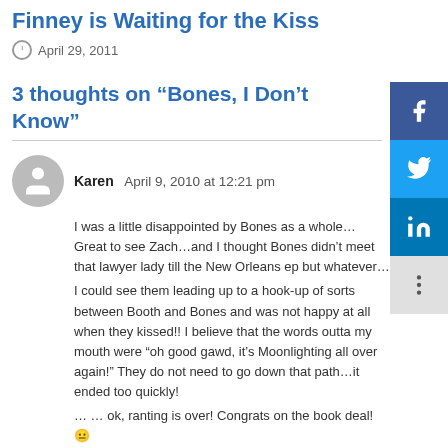Finney is Waiting for the Kiss
April 29, 2011
3 thoughts on “Bones, I Don’t Know”
Karen  April 9, 2010 at 12:21 pm
I was a little disappointed by Bones as a whole… Great to see Zach…and I thought Bones didn’t meet that lawyer lady till the New Orleans ep but whatever…
I could see them leading up to a hook-up of sorts between Booth and Bones and was not happy at all when they kissed!! I believe that the words outta my mouth were “oh good gawd, it’s Moonlighting all over again!” They do not need to go down that path…it ended too quickly!
… … ok, ranting is over! Congrats on the book deal! 😐